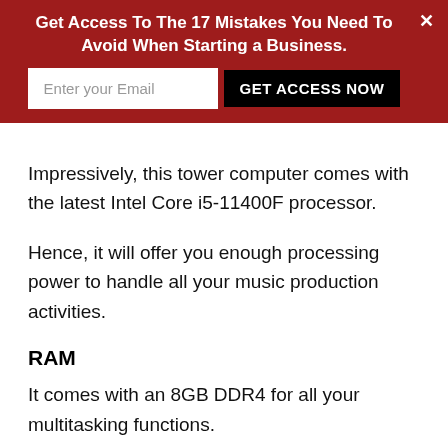[Figure (infographic): Red banner popup with headline 'Get Access To The 17 Mistakes You Need To Avoid When Starting a Business.' with an email input field and 'GET ACCESS NOW' button, and a close X in the top right.]
Impressively, this tower computer comes with the latest Intel Core i5-11400F processor.
Hence, it will offer you enough processing power to handle all your music production activities.
RAM
It comes with an 8GB DDR4 for all your multitasking functions.
Operating System